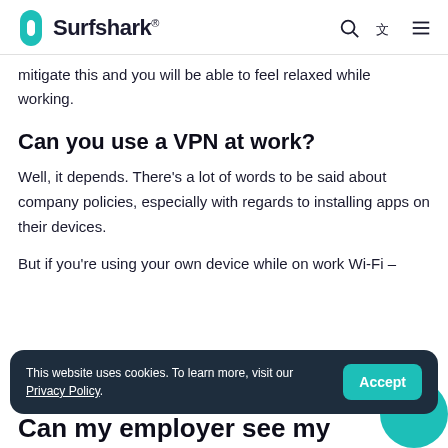Surfshark®
mitigate this and you will be able to feel relaxed while working.
Can you use a VPN at work?
Well, it depends. There's a lot of words to be said about company policies, especially with regards to installing apps on their devices.
But if you're using your own device while on work Wi-Fi –
This website uses cookies. To learn more, visit our Privacy Policy.
Can my employer see my browsing